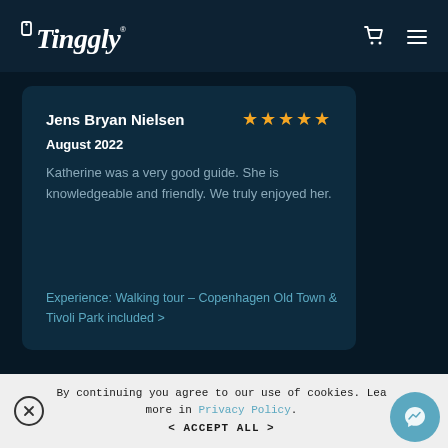Tinggly
Jens Bryan Nielsen — ★★★★★
August 2022
Katherine was a very good guide. She is knowledgeable and friendly. We truly enjoyed her.
Experience: Walking tour – Copenhagen Old Town & Tivoli Park included >
By continuing you agree to our use of cookies. Learn more in Privacy Policy.
< ACCEPT ALL >